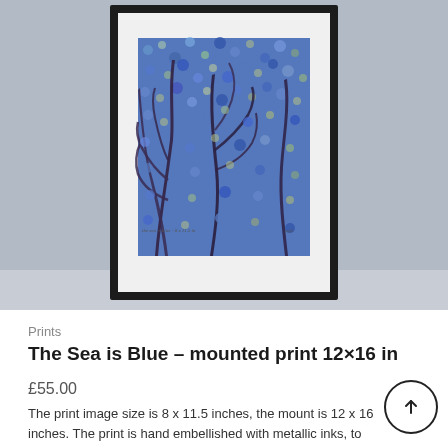[Figure (photo): A framed art print mounted on a white mat inside a black frame, showing a blue botanical/nature scene with leaf-like plant forms against a dappled blue and green background, displayed against a grey wall background.]
Prints
The Sea is Blue – mounted print 12×16 in
£55.00
The print image size is 8 x 11.5 inches, the mount is 12 x 16 inches. The print is hand embellished with metallic inks, to bring